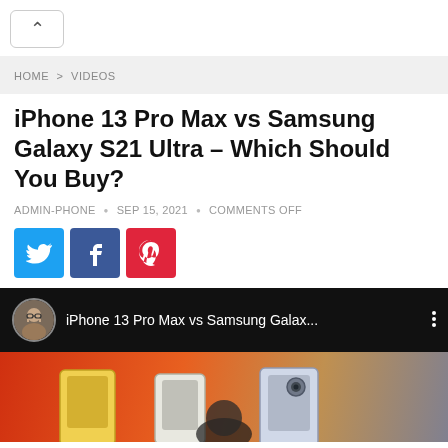^ (navigation button)
HOME > VIDEOS
iPhone 13 Pro Max vs Samsung Galaxy S21 Ultra – Which Should You Buy?
ADMIN-PHONE • SEP 15, 2021 • COMMENTS OFF
[Figure (other): Social sharing buttons: Twitter (blue), Facebook (blue), Pinterest (red/pink)]
[Figure (screenshot): YouTube video thumbnail header showing a circular avatar photo of a man with glasses, title 'iPhone 13 Pro Max vs Samsung Galax...', three vertical dots menu icon, and a partial image of multiple smartphones on a red/orange background.]